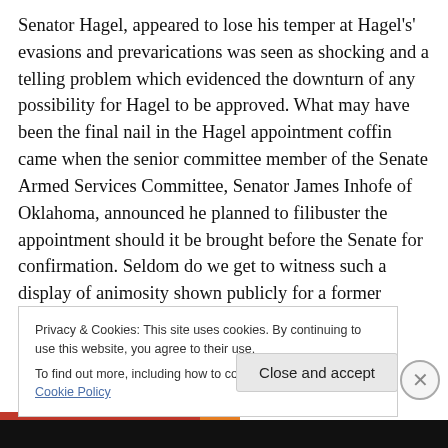Senator Hagel, appeared to lose his temper at Hagel's' evasions and prevarications was seen as shocking and a telling problem which evidenced the downturn of any possibility for Hagel to be approved. What may have been the final nail in the Hagel appointment coffin came when the senior committee member of the Senate Armed Services Committee, Senator James Inhofe of Oklahoma, announced he planned to filibuster the appointment should it be brought before the Senate for confirmation. Seldom do we get to witness such a display of animosity shown publicly for a former Senator when brought before the
Privacy & Cookies: This site uses cookies. By continuing to use this website, you agree to their use.
To find out more, including how to control cookies, see here: Cookie Policy
Close and accept